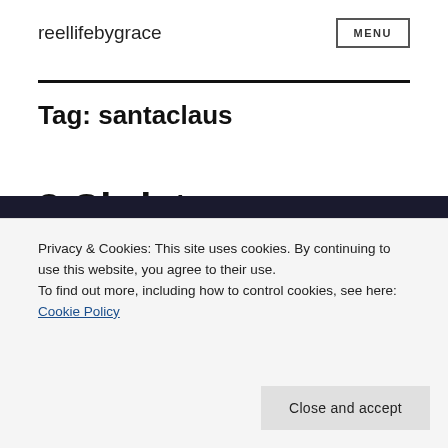reellifebygrace
Tag: santaclaus
3 Christmas Movies You
Privacy & Cookies: This site uses cookies. By continuing to use this website, you agree to their use.
To find out more, including how to control cookies, see here: Cookie Policy
Close and accept